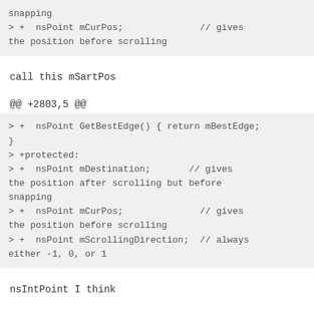snapping
> +  nsPoint mCurPos;              // gives the position before scrolling
call this mSartPos
@@ +2803,5 @@
> +  nsPoint GetBestEdge() { return mBestEdge; }
> +protected:
> +  nsPoint mDestination;       // gives the position after scrolling but before snapping
> +  nsPoint mCurPos;            // gives the position before scrolling
> +  nsPoint mScrollingDirection;  // always either -1, 0, or 1
nsIntPoint I think